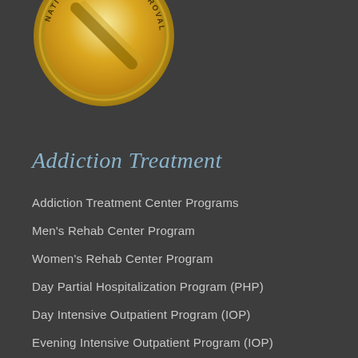[Figure (logo): Gold circular seal/badge with 'NATIONAL QUALITY APPROVAL' text around the edge and a checkmark/stripe graphic in the center]
Addiction Treatment
Addiction Treatment Center Programs
Men's Rehab Center Program
Women's Rehab Center Program
Day Partial Hospitalization Program (PHP)
Day Intensive Outpatient Program (IOP)
Evening Intensive Outpatient Program (IOP)
Family Program